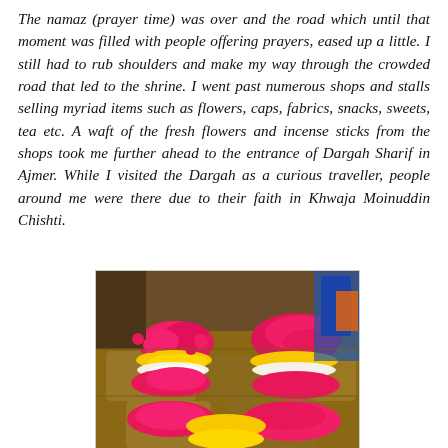The namaz (prayer time) was over and the road which until that moment was filled with people offering prayers, eased up a little. I still had to rub shoulders and make my way through the crowded road that led to the shrine. I went past numerous shops and stalls selling myriad items such as flowers, caps, fabrics, snacks, sweets, tea etc. A waft of the fresh flowers and incense sticks from the shops took me further ahead to the entrance of Dargah Sharif in Ajmer. While I visited the Dargah as a curious traveller, people around me were there due to their faith in Khwaja Moinuddin Chishti.
[Figure (photo): Baskets filled with colorful flower offerings — bright pink roses, yellow marigolds, and white flowers — arranged at a market stall near a shrine.]